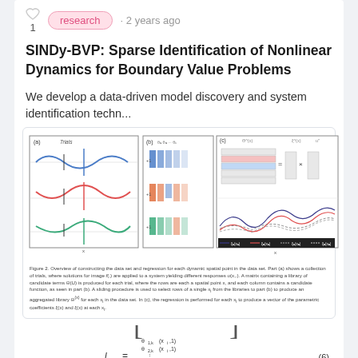research · 2 years ago
SINDy-BVP: Sparse Identification of Nonlinear Dynamics for Boundary Value Problems
We develop a data-driven model discovery and system identification techn...
[Figure (illustration): Three-panel figure (a)(b)(c) showing overview of constructing data set and regression for each dynamic spatial point in the data set.]
Figure 2. Overview of constructing the data set and regression for each dynamic spatial point in the data set. Part (a) shows a collection of trials, where solutions for image f(.) are applied to a system yielding different responses u(x). A matrix containing a library of candidate terms Θ(U) is produced for each trial, where the rows are each a spatial point x, and each column contains a candidate function, as seen in part (b). A liding procedure is used to select rows of a single x, from the libraries to part (b) to produce an aggregated library Θ^(x) for each x, in the data set. In (c), the regression is performed for each x, to produce a vector of the parametric coefficients ξ(x) and ξ(x) at each x.